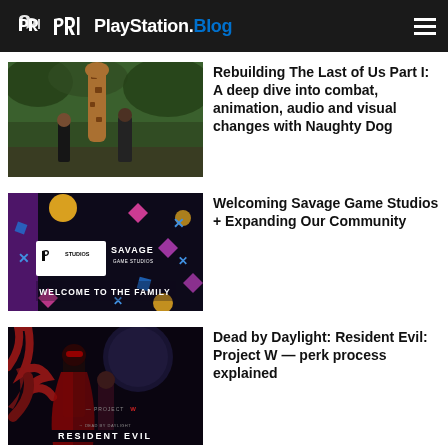PlayStation.Blog
[Figure (photo): Screenshot from The Last of Us Part I showing a giraffe scene]
Rebuilding The Last of Us Part I: A deep dive into combat, animation, audio and visual changes with Naughty Dog
[Figure (photo): Savage Game Studios welcome to the family promotional image]
Welcoming Savage Game Studios + Expanding Our Community
[Figure (photo): Dead by Daylight Resident Evil Project W key art]
Dead by Daylight: Resident Evil: Project W — perk process explained